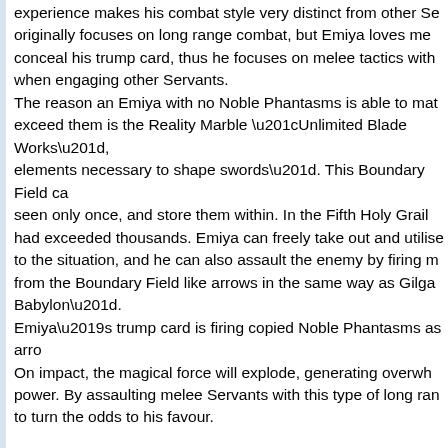experience makes his combat style very distinct from other Se originally focuses on long range combat, but Emiya loves me conceal his trump card, thus he focuses on melee tactics with when engaging other Servants. The reason an Emiya with no Noble Phantasms is able to mat exceed them is the Reality Marble “Unlimited Blade Works”, elements necessary to shape swords”. This Boundary Field ca seen only once, and store them within. In the Fifth Holy Grail had exceeded thousands. Emiya can freely take out and utilise to the situation, and he can also assault the enemy by firing m from the Boundary Field like arrows in the same way as Gilga Babylon”. Emiya’s trump card is firing copied Noble Phantasms as arro On impact, the magical force will explode, generating overwh power. By assaulting melee Servants with this type of long ra to turn the odds to his favour.
Class Abilities
Magic Resistance: D